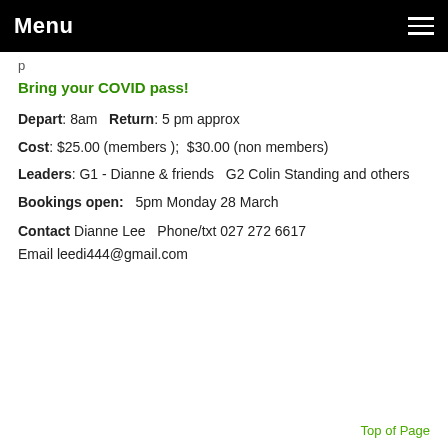Menu
p
Bring your COVID pass!
Depart: 8am   Return: 5 pm approx
Cost: $25.00 (members );  $30.00 (non members)
Leaders: G1 - Dianne & friends  G2 Colin Standing and others
Bookings open:   5pm Monday 28 March
Contact Dianne Lee  Phone/txt 027 272 6617
Email leedi444@gmail.com
Top of Page